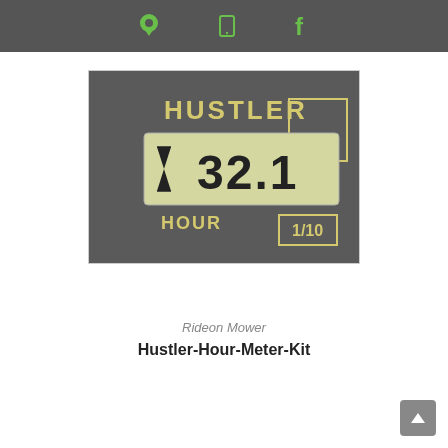navigation icons: location pin, tablet/phone, facebook
[Figure (photo): Close-up photo of a Hustler hour meter display showing 32.1 hours, labeled HOUR and 1/10, on a dark textured surface]
Rideon Mower
Hustler-Hour-Meter-Kit